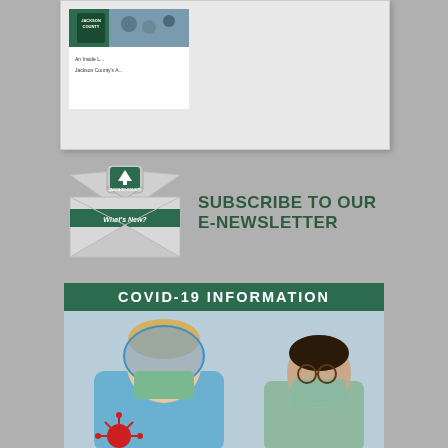[Figure (screenshot): Jackson County video thumbnail showing an inside look at Jackson County's activities, displayed in a light gray box]
[Figure (illustration): Jackson County e-newsletter subscription banner with envelope graphic and Jackson County logo saying What's New, next to text SUBSCRIBE TO OUR E-NEWSLETTER]
[Figure (photo): COVID-19 Information banner with dark green background and white text, above a photo of a healthcare worker in blue scrubs and face shield with another masked person]